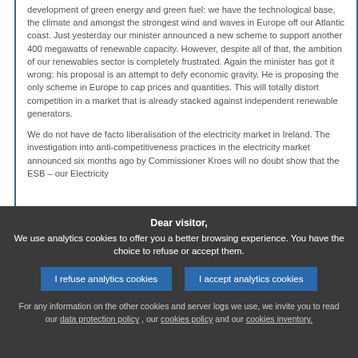development of green energy and green fuel: we have the technological base, the climate and amongst the strongest wind and waves in Europe off our Atlantic coast. Just yesterday our minister announced a new scheme to support another 400 megawatts of renewable capacity. However, despite all of that, the ambition of our renewables sector is completely frustrated. Again the minister has got it wrong: his proposal is an attempt to defy economic gravity. He is proposing the only scheme in Europe to cap prices and quantities. This will totally distort competition in a market that is already stacked against independent renewable generators.
We do not have de facto liberalisation of the electricity market in Ireland. The investigation into anti-competitiveness practices in the electricity market announced six months ago by Commissioner Kroes will no doubt show that the ESB – our Electricity
Dear visitor,
We use analytics cookies to offer you a better browsing experience. You have the choice to refuse or accept them.
I refuse analytics cookies
I accept analytics cookies
For any information on the other cookies and server logs we use, we invite you to read our data protection policy , our cookies policy and our cookies inventory.